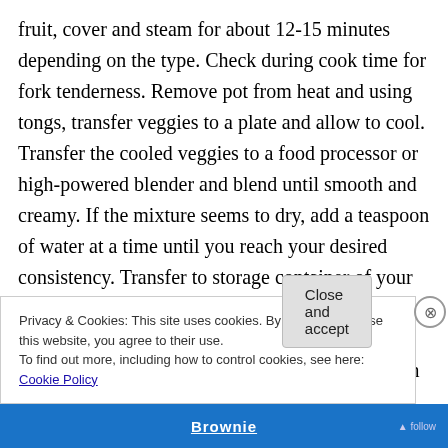fruit, cover and steam for about 12-15 minutes depending on the type. Check during cook time for fork tenderness. Remove pot from heat and using tongs, transfer veggies to a plate and allow to cool. Transfer the cooled veggies to a food processor or high-powered blender and blend until smooth and creamy. If the mixture seems to dry, add a teaspoon of water at a time until you reach your desired consistency. Transfer to storage container of your choice. If freezing in ice-cube trays or silicone molds, when frozen you may pop them out and sore them in freezer bags or whatever freezer safe container you like to use.
Privacy & Cookies: This site uses cookies. By continuing to use this website, you agree to their use.
To find out more, including how to control cookies, see here: Cookie Policy
Close and accept